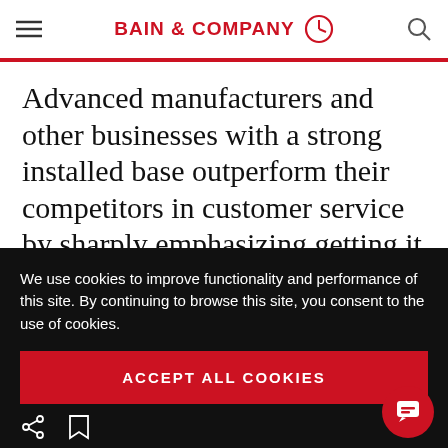BAIN & COMPANY
Advanced manufacturers and other businesses with a strong installed base outperform their competitors in customer service by sharply emphasizing getting it right the first time. This can help boost service delivery efficiency and enhance the customer experience—the two
We use cookies to improve functionality and performance of this site. By continuing to browse this site, you consent to the use of cookies.
ACCEPT ALL COOKIES